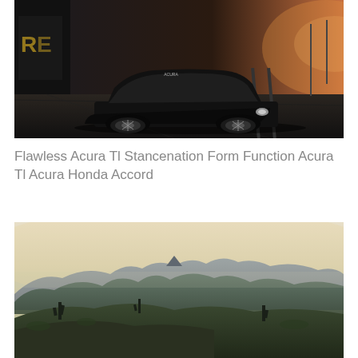[Figure (photo): A lowered black Acura TL sports sedan photographed at ground level in an industrial/urban setting with graffiti wall, railroad tracks, and warm sunset lighting. The car has aftermarket wheels and aggressive stance.]
Flawless Acura Tl Stancenation Form Function Acura Tl Acura Honda Accord
[Figure (photo): A panoramic landscape photo of a desert mountain range, showing layered ridgelines with saguaro cacti in the foreground, hazy blue-green mountains in the background, under a pale warm sky at dusk or dawn.]